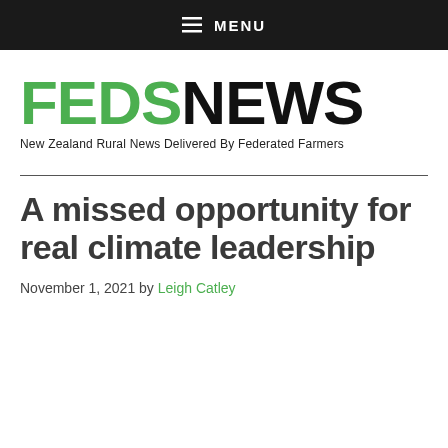≡ MENU
[Figure (logo): FEDSNEWS logo with green FEDS and black NEWS text, tagline: New Zealand Rural News Delivered By Federated Farmers]
A missed opportunity for real climate leadership
November 1, 2021 by Leigh Catley